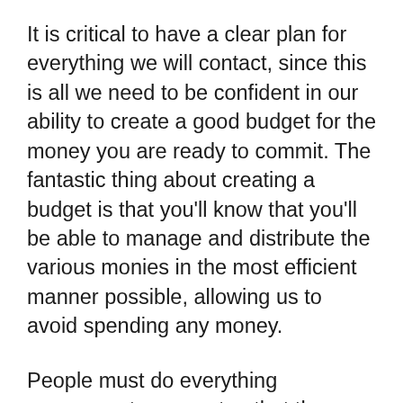It is critical to have a clear plan for everything we will contact, since this is all we need to be confident in our ability to create a good budget for the money you are ready to commit. The fantastic thing about creating a budget is that you'll know that you'll be able to manage and distribute the various monies in the most efficient manner possible, allowing us to avoid spending any money.
People must do everything necessary to guarantee that they are not averse to using the money to find the most accessible mural and graphics programs for them, and it would be a good guide for us. We must do everything possible to avoid buying the [text continues]